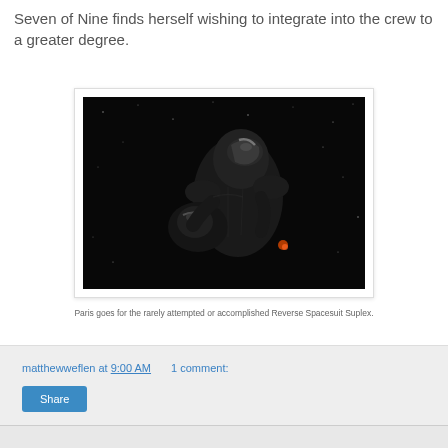Seven of Nine finds herself wishing to integrate into the crew to a greater degree.
[Figure (photo): Dark science fiction scene showing a figure in a black spacesuit holding another figure, photographed against a black starry background.]
Paris goes for the rarely attempted or accomplished Reverse Spacesuit Suplex.
matthewweflen at 9:00 AM   1 comment:
Share